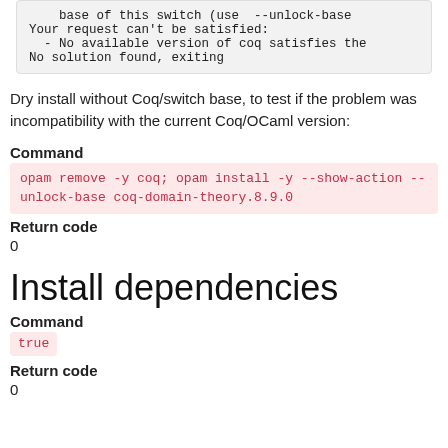base of this switch (use --unlock-base
Your request can't be satisfied:
  - No available version of coq satisfies the
No solution found, exiting
Dry install without Coq/switch base, to test if the problem was incompatibility with the current Coq/OCaml version:
Command
opam remove -y coq; opam install -y --show-action --unlock-base coq-domain-theory.8.9.0
Return code
0
Install dependencies
Command
true
Return code
0